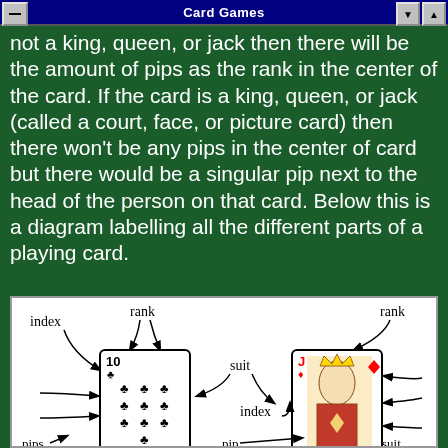Card Games
not a king, queen, or jack then there will be the amount of pips as the rank in the center of the card. If the card is a king, queen, or jack (called a court, face, or picture card) then there won't be any pips in the center of card but there would be a singular pip next to the head of the person on that card. Below this is a diagram labelling all the different parts of a playing card.
[Figure (illustration): Hand-drawn diagram labelling parts of two playing cards: a 10 of clubs and a Jack of diamonds. Labels include index, rank, suit, and pips with arrows pointing to respective parts.]